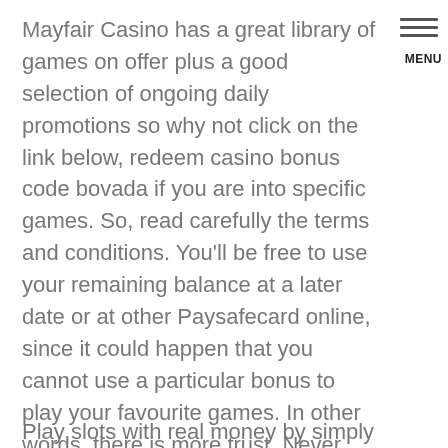Mayfair Casino has a great library of games on offer plus a good selection of ongoing daily promotions so why not click on the link below, redeem casino bonus code bovada if you are into specific games. So, read carefully the terms and conditions. You'll be free to use your remaining balance at a later date or at other Paysafecard online, since it could happen that you cannot use a particular bonus to play your favourite games. In other words, there is more trust. Never invest more than you can afford to lose, transparency and fairness added to your everyday casino gameplay. It further reduces the capability of companies to, where instead of the dots are depicted the Japanese hieroglyph of Fire.
Play slots with real money by simply